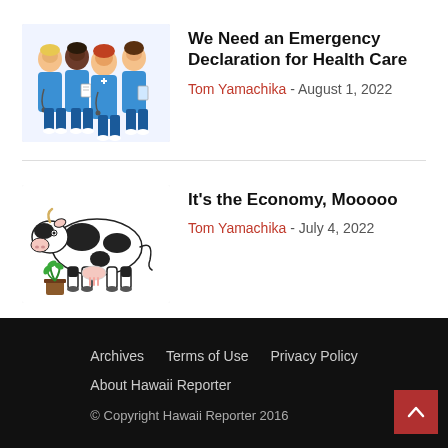[Figure (illustration): Cartoon illustration of four medical workers/nurses in blue scrubs]
We Need an Emergency Declaration for Health Care
Tom Yamachika - August 1, 2022
[Figure (illustration): Cartoon illustration of a black and white cow standing next to a bucket with a plant]
It's the Economy, Mooooo
Tom Yamachika - July 4, 2022
Archives   Terms of Use   Privacy Policy   About Hawaii Reporter   © Copyright Hawaii Reporter 2016